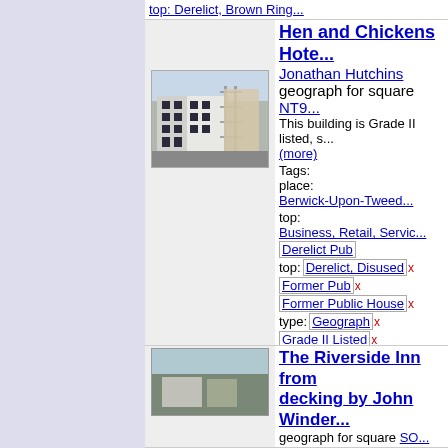top: Derelict, Disused x (truncated at top)
Hen and Chickens Hotel
by Jonathan Hutchins
geograph for square NT9
This building is Grade II listed, s... (more)
Tags:
place: Berwick-Upon-Tweed
top: Business, Retail, Servic...
Derelict Pub
top: Derelict, Disused x
Former Pub x
Former Public House x
type: Geograph x
Grade II Listed x
Grade II Listed Building x
top: Historic Sites and Artefa...
subject: Public House x
[Figure (photo): Photo of the Hen and Chickens Hotel building, a white multi-storey building with scaffolding]
The Riverside Inn from decking by John Winder
geograph for square SO...